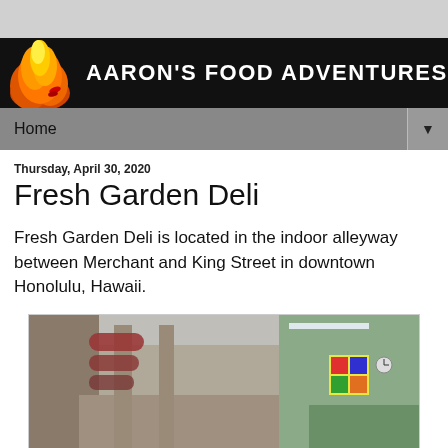AARON'S FOOD ADVENTURES
Home
Thursday, April 30, 2020
Fresh Garden Deli
Fresh Garden Deli is located in the indoor alleyway between Merchant and King Street in downtown Honolulu, Hawaii.
[Figure (photo): Interior photo of an indoor alleyway/corridor with restaurant signage and a green-walled deli counter visible]